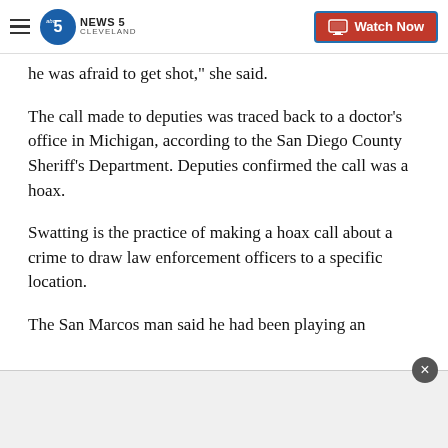NEWS 5 CLEVELAND — Watch Now
he was afraid to get shot," she said.
The call made to deputies was traced back to a doctor's office in Michigan, according to the San Diego County Sheriff's Department. Deputies confirmed the call was a hoax.
Swatting is the practice of making a hoax call about a crime to draw law enforcement officers to a specific location.
The San Marcos man said he had been playing an online game when the incident happened.